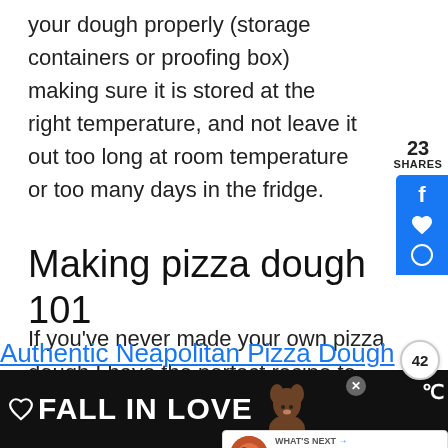your dough properly (storage containers or proofing box) making sure it is stored at the right temperature, and not leave it out too long at room temperature or too many days in the fridge.
Making pizza dough 101
If you've never made your own pizza dough I have the perfect recipe to get you started!
[Figure (screenshot): Social sharing sidebar with Facebook icon, heart/like icon, share count 42, and share button in blue]
[Figure (infographic): What's Next panel with pizza thumbnail and text: Authentic Neapolitan...]
[Figure (screenshot): Bottom advertisement bar: FALL IN LOVE with heart outline icon and dog image, X close button]